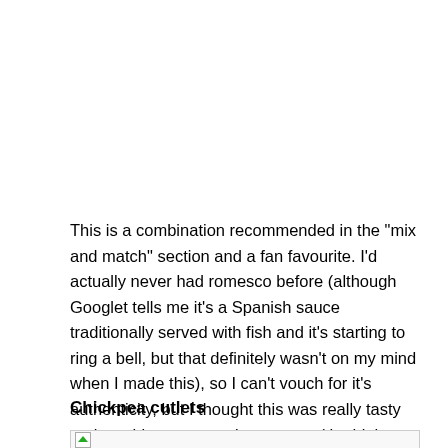This is a combination recommended in the "mix and match" section and a fan favourite. I'd actually never had romesco before (although Googlet tells me it's a Spanish sauce traditionally served with fish and it's starting to ring a bell, but that definitely wasn't on my mind when I made this), so I can't vouch for it's authenticity, but I thought this was really tasty and would even serve it to guests (the highest compliment I can give anything!). I added steamed broccoli and a squeeze of lemon juice. An easy, delicious store-cupboard dinner.
Chickpea cutlets
[Figure (photo): Partially visible image placeholder at the bottom of the page]